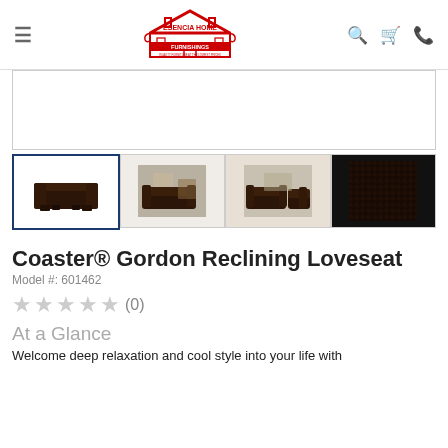Esencia Home Furnishings
[Figure (photo): Main product image area (blank/white) for Coaster Gordon Reclining Loveseat]
[Figure (photo): Thumbnail 1: Dark brown reclining loveseat, front view, selected (blue border)]
[Figure (photo): Thumbnail 2: Dark brown loveseat in a living room setting]
[Figure (photo): Thumbnail 3: Dark brown sofa set in a living room]
[Figure (photo): Thumbnail 4: Close-up of dark brown fabric texture]
Coaster® Gordon Reclining Loveseat
Model #: 601462
★★★★★ (0)
At a Glance
Welcome deep relaxation and cool style into your life with